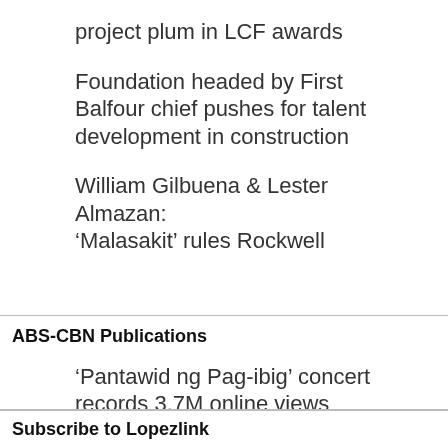project plum in LCF awards
Foundation headed by First Balfour chief pushes for talent development in construction
William Gilbuena & Lester Almazan: ‘Malasakit’ rules Rockwell
ABS-CBN Publications
‘Pantawid ng Pag-ibig’ concert records 3.7M online views
ABS-CBN’s “Pantawid ng Pag-ibig: At Home Together Concert” recorded 3.7 million views during its livestreaming across the network’s digital platforms on March 22
Subscribe to Lopezlink